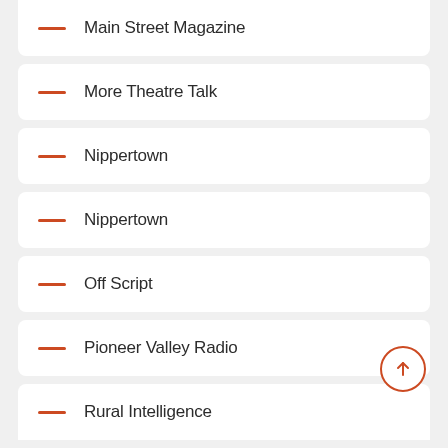Main Street Magazine
More Theatre Talk
Nippertown
Nippertown
Off Script
Pioneer Valley Radio
Rural Intelligence